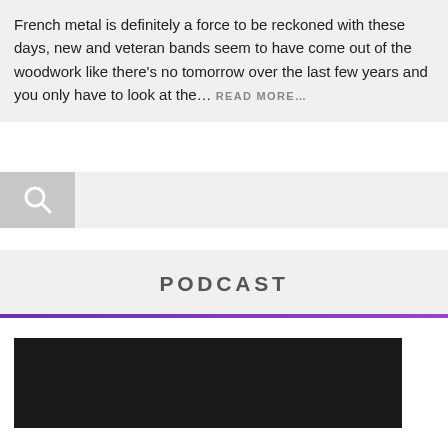French metal is definitely a force to be reckoned with these days, new and veteran bands seem to have come out of the woodwork like there's no tomorrow over the last few years and you only have to look at the…  READ MORE…
[Figure (screenshot): Search bar with magnifying glass icon on left gray square and white input area on right]
PODCAST
[Figure (photo): Dark/black background image, partially visible at bottom of page]